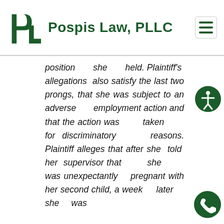Pospis Law, PLLC
position she held. Plaintiff's allegations also satisfy the last two prongs, that she was subject to an adverse employment action and that the action was taken for discriminatory reasons. Plaintiff alleges that after she told her supervisor that she was unexpectantly pregnant with her second child, a week later she was